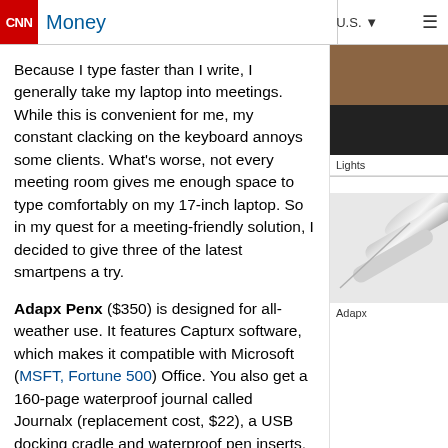CNN Money
Because I type faster than I write, I generally take my laptop into meetings. While this is convenient for me, my constant clacking on the keyboard annoys some clients. What's worse, not every meeting room gives me enough space to type comfortably on my 17-inch laptop. So in my quest for a meeting-friendly solution, I decided to give three of the latest smartpens a try.
Adapx Penx ($350) is designed for all-weather use. It features Capturx software, which makes it compatible with Microsoft (MSFT, Fortune 500) Office. You also get a 160-page waterproof journal called Journalx (replacement cost, $22), a USB docking cradle and waterproof pen inserts.
The Penx can go where most laptops and phones fear to tread. One great thing about Capturx is that it converts your sketches into graphics files and turns what you write into text that gets uploaded to Microsoft OneNote, a $100 piece of software usually included with tablet PCs. Your scribblings don't upload to Microsoft Word, unfortunately, or to any